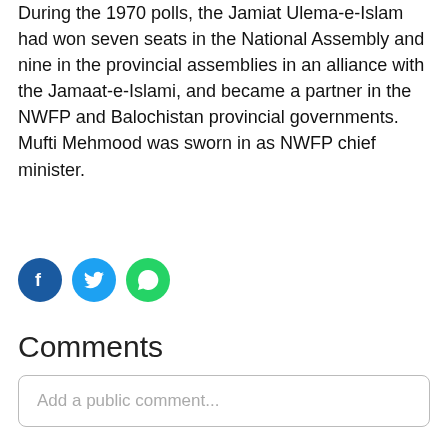During the 1970 polls, the Jamiat Ulema-e-Islam had won seven seats in the National Assembly and nine in the provincial assemblies in an alliance with the Jamaat-e-Islami, and became a partner in the NWFP and Balochistan provincial governments. Mufti Mehmood was sworn in as NWFP chief minister.
[Figure (infographic): Three social media share icons: Facebook (dark blue circle with f logo), Twitter (light blue circle with bird logo), WhatsApp (green circle with phone/chat logo)]
Comments
Add a public comment...